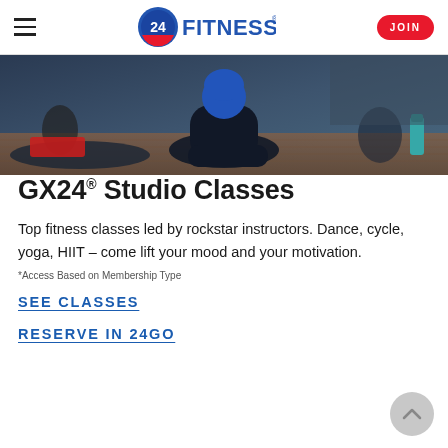24 Hour Fitness — JOIN
[Figure (photo): A fitness class photo showing a person in dark workout clothes and blue cap doing a seated exercise on a mat, with a red prop visible and a teal water bottle in the background, gym setting.]
GX24® Studio Classes
Top fitness classes led by rockstar instructors. Dance, cycle, yoga, HIIT – come lift your mood and your motivation.
*Access Based on Membership Type
SEE CLASSES
RESERVE IN 24GO